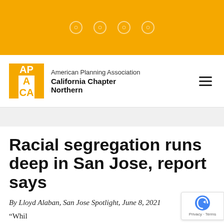[Figure (logo): APA California Chapter Northern logo — gold box with APA CA text, followed by organization name]
Racial segregation runs deep in San Jose, report says
By Lloyd Alaban, San Jose Spotlight, June 8, 2021
“While...